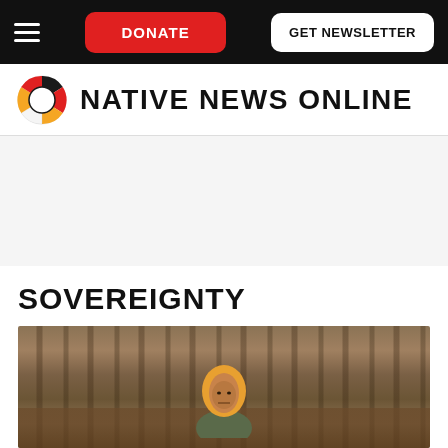DONATE | GET NEWSLETTER
NATIVE NEWS ONLINE
SOVEREIGNTY
[Figure (photo): An older Native American woman wearing an orange and yellow hooded jacket, seated outdoors in a woodland setting with bare trees and brown earth in the background.]